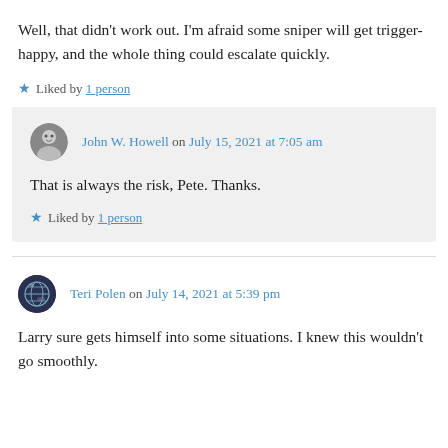Well, that didn't work out. I'm afraid some sniper will get trigger-happy, and the whole thing could escalate quickly.
Liked by 1 person
John W. Howell on July 15, 2021 at 7:05 am
That is always the risk, Pete. Thanks.
Liked by 1 person
Teri Polen on July 14, 2021 at 5:39 pm
Larry sure gets himself into some situations. I knew this wouldn't go smoothly.